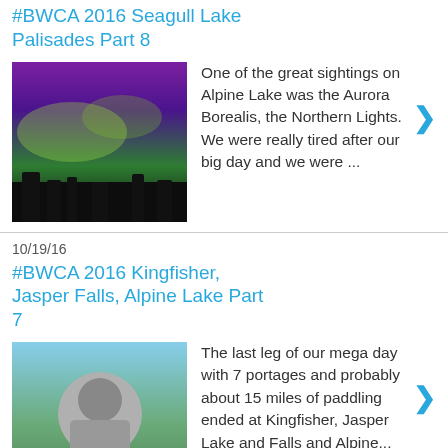#BWCA 2016 Seagull Lake Palisades Part 8
[Figure (photo): Aurora Borealis photo — purple and green northern lights over dark treeline]
One of the great sightings on Alpine Lake was the Aurora Borealis, the Northern Lights. We were really tired after our big day and we were ...
10/19/16
#BWCA 2016 Kingfisher, Jasper Falls, Alpine Lake Part 7
[Figure (photo): Person wearing hat outdoors, wooded background]
The last leg of our mega day with 7 portages and probably about 15 miles of paddling ended at Kingfisher, Jasper Lake and Falls and Alpine...
10/18/16
#BWCA 2016 Eddy Jenny Annie Kingfisher Ogish Part 6
[Figure (photo): Water/lake scene thumbnail]
Our biggest day in the Boundary Waters was ...